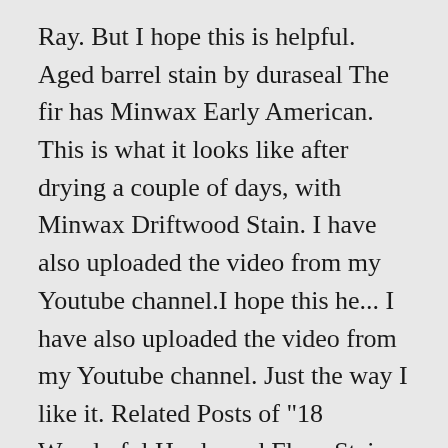Ray. But I hope this is helpful. Aged barrel stain by duraseal The fir has Minwax Early American. This is what it looks like after drying a couple of days, with Minwax Driftwood Stain. I have also uploaded the video from my Youtube channel.I hope this he... I have also uploaded the video from my Youtube channel. Just the way I like it. Related Posts of "18 Wonderful Hardwood Floor Stain Colors for Oak" 11 Stylish 3 4 Hardwood Floor Nailer . Page loaded in 3.097 seconds. Today. The results are dark and nasty. Red Oak Floors Real Wood Floors Wide Plank Flooring Engineered Hardwood Flooring Bona Floor Oak Floor Stains Driftwood Stain Jacobean Stain Installing Hardwood Floors. This is what it looks like after drying a couple of